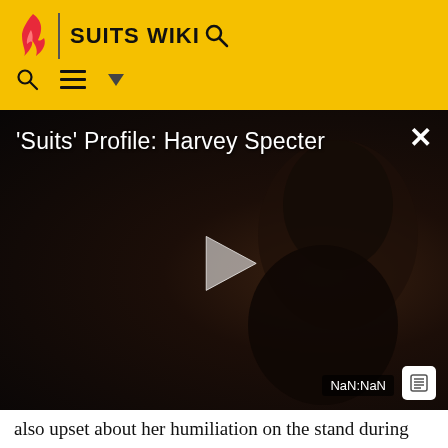SUITS WIKI
[Figure (screenshot): Video player showing 'Suits' Profile: Harvey Specter with a dark close-up of a man's face, play button in center, NaN:NaN timestamp badge, and X close button]
also upset about her humiliation on the stand during the in-house trial. She tells him in no uncertain terms that loves him like a brother or a cousin, but she is not in love with him. Harvey, for his part, is forced to do some serious groveling; it is only after he tells Donna that he